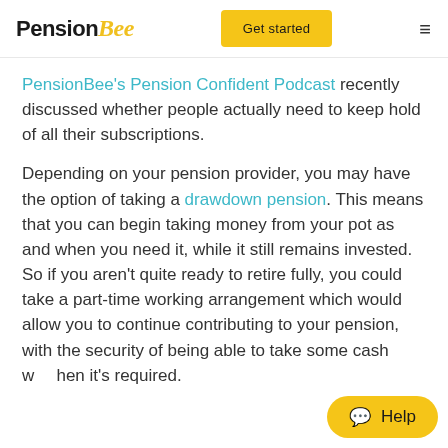PensionBee | Get started
PensionBee's Pension Confident Podcast recently discussed whether people actually need to keep hold of all their subscriptions.
Depending on your pension provider, you may have the option of taking a drawdown pension. This means that you can begin taking money from your pot as and when you need it, while it still remains invested. So if you aren't quite ready to retire fully, you could take a part-time working arrangement which would allow you to continue contributing to your pension, with the security of being able to take some cash w... it's required.